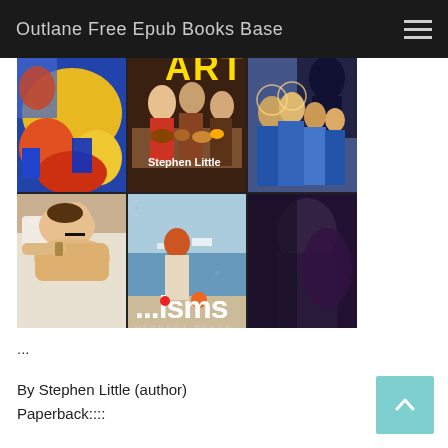Outlane Free Epub Books Base
[Figure (illustration): Book cover for '...isms Understanding Art' by Stephen Little, published by Herbert Press. Shows a collage of artworks including colorful abstract paintings, a Renaissance feast scene, medieval figures in blue robes, a Pointillist seaside scene, and a reclining nude figure.]
...
By Stephen Little (author)
Paperback::::